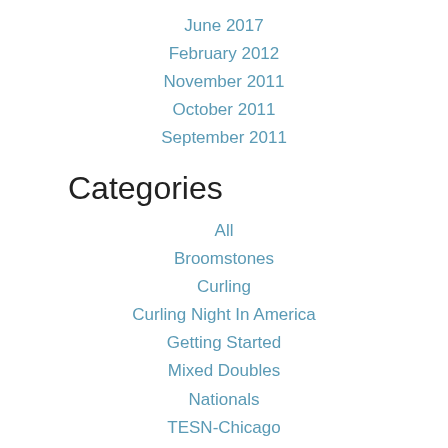June 2017
February 2012
November 2011
October 2011
September 2011
Categories
All
Broomstones
Curling
Curling Night In America
Getting Started
Mixed Doubles
Nationals
TESN-Chicago
RSS Feed
[Figure (other): Follow us on Twitter button]